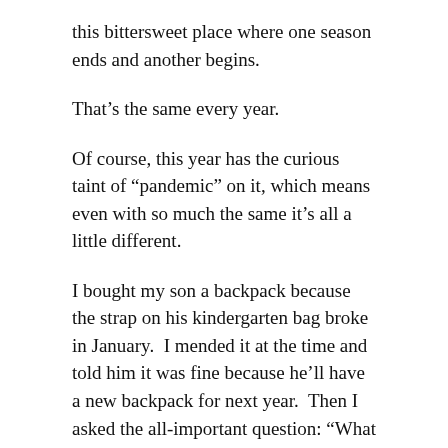this bittersweet place where one season ends and another begins.
That’s the same every year.
Of course, this year has the curious taint of “pandemic” on it, which means even with so much the same it’s all a little different.
I bought my son a backpack because the strap on his kindergarten bag broke in January.  I mended it at the time and told him it was fine because he’ll have a new backpack for next year.  Then I asked the all-important question: “What kind of backpack would you like for first grade?”
Usually, he’s a superhero kind of guy when it comes school supplies, but this time he announced he wanted a Jurassic World backpack with